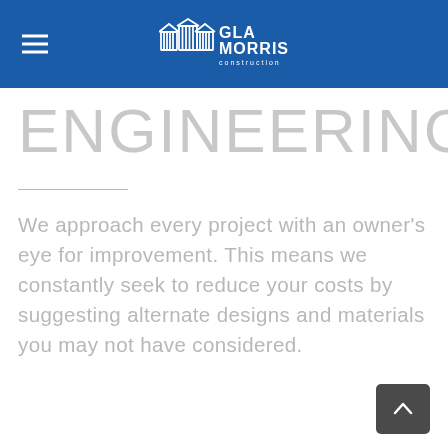GLA MORRIS construction
ENGINEERING
We approach every project with an owner's eye for improvement. This means we constantly seek to reduce your costs by suggesting alternate designs and materials you may not have considered.